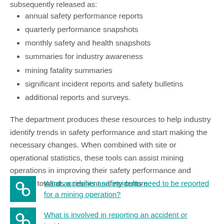subsequently released as:
annual safety performance reports
quarterly performance snapshots
monthly safety and health snapshots
summaries for industry awareness
mining fatality summaries
significant incident reports and safety bulletins
additional reports and surveys.
The department produces these resources to help industry identify trends in safety performance and start making the necessary changes. When combined with site or operational statistics, these tools can assist mining operations in improving their safety performance and moving towards a resilient safety culture.
What accidents and incidents need to be reported for a mining operation?
What is involved in reporting an accident or incident